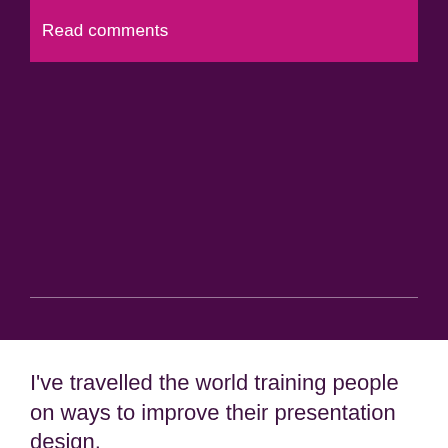Read comments
I've travelled the world training people on ways to improve their presentation design,